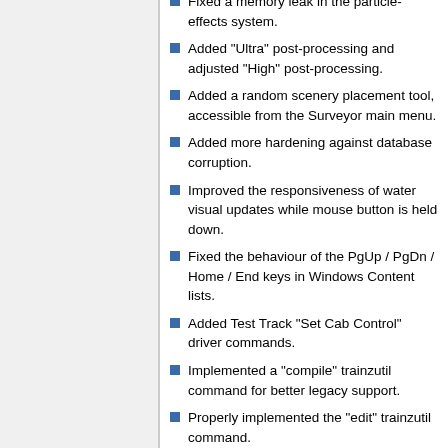Fixed a memory leak in the particle-effects system.
Added "Ultra" post-processing and adjusted "High" post-processing.
Added a random scenery placement tool, accessible from the Surveyor main menu.
Added more hardening against database corruption.
Improved the responsiveness of water visual updates while mouse button is held down.
Fixed the behaviour of the PgUp / PgDn / Home / End keys in Windows Content lists.
Added Test Track "Set Cab Control" driver commands.
Implemented a "compile" trainzutil command for better legacy support.
Properly implemented the "edit" trainzutil command.
Properly implemented the "printconfig" trainzutil command.
Fixed the handling of backspace/delete key presses while text is selected in an in-game